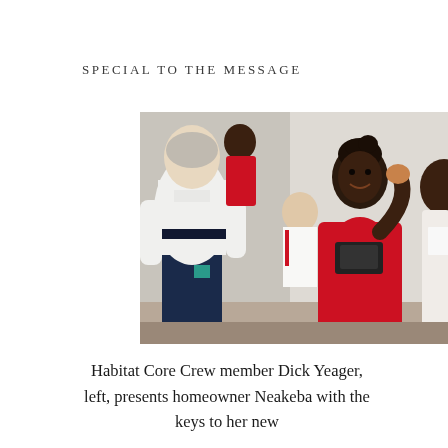SPECIAL TO THE MESSAGE
[Figure (photo): A Habitat for Humanity event indoors. On the left, an older white man in a white short-sleeve shirt and dark navy pants stands with his back partially to the camera. In the center, a Black woman in a red dress holds a black box (possibly containing keys) with one hand extended upward, smiling. Behind them are children and another adult, and a Habitat for Humanity of Evansville banner is visible on the table in the background.]
Habitat Core Crew member Dick Yeager, left, presents homeowner Neakeba with the keys to her new